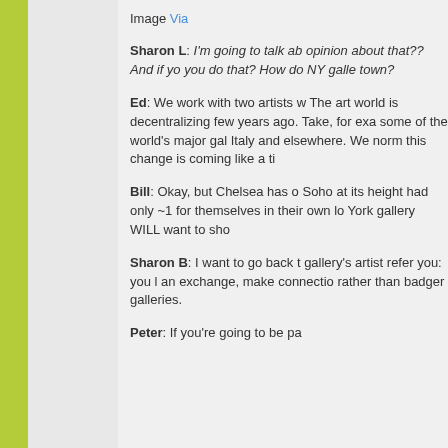Image Via
Sharon L: I'm going to talk about opinion about that?? And if you do that? How do NY galle town?
Ed: We work with two artists w The art world is decentralizing few years ago. Take, for exa some of the world's major gal Italy and elsewhere. We norm this change is coming like a ti
Bill: Okay, but Chelsea has o Soho at its height had only ~1 for themselves in their own lo York gallery WILL want to sho
Sharon B: I want to go back t gallery's artist refer you: you an exchange, make connectio rather than badger galleries.
Peter: If you're going to be pa